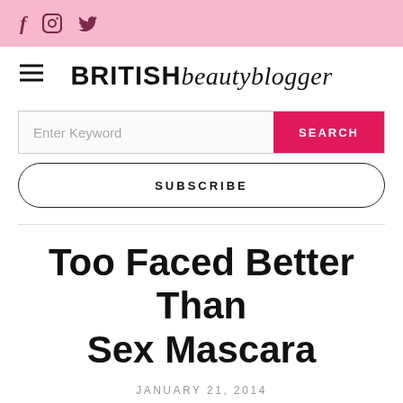f  [instagram]  [twitter]
BRITISH beautyblogger
Enter Keyword  SEARCH
SUBSCRIBE
Too Faced Better Than Sex Mascara
JANUARY 21, 2014